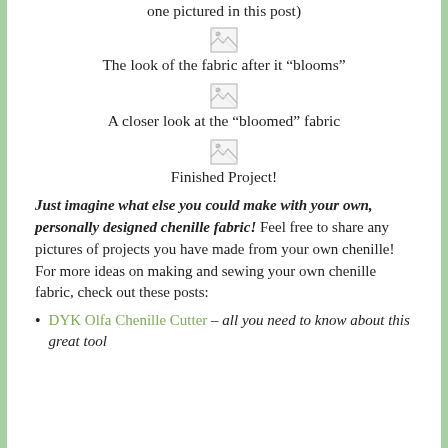one pictured in this post)
[Figure (photo): Broken image placeholder]
The look of the fabric after it “blooms”
[Figure (photo): Broken image placeholder]
A closer look at the “bloomed” fabric
[Figure (photo): Broken image placeholder]
Finished Project!
Just imagine what else you could make with your own, personally designed chenille fabric! Feel free to share any pictures of projects you have made from your own chenille! For more ideas on making and sewing your own chenille fabric, check out these posts:
DYK Olfa Chenille Cutter – all you need to know about this great tool